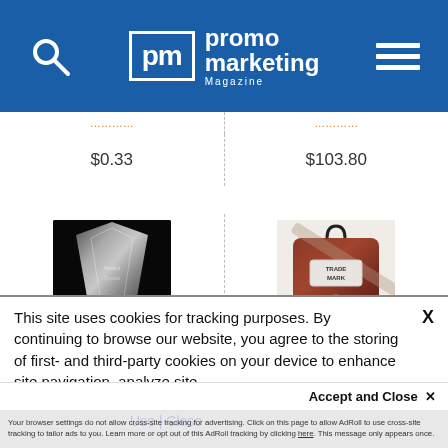promo marketing Magazine
| Product 1 | Product 2 |
| --- | --- |
| $0.33 | $103.80 |
[Figure (photo): Crystal award trophy on dark background with red flower decoration]
[Figure (photo): Brown/maroon dye-sublimation backpack with handle and label patch]
Cathedral Peak 16"
Jade Import Dye-
This site uses cookies for tracking purposes. By continuing to browse our website, you agree to the storing of first- and third-party cookies on your device to enhance site navigation, analyze site usage, and assist in our marketing and
Accept and Close ✕
Your browser settings do not allow cross-site tracking for advertising. Click on this page to allow AdRoll to use cross-site tracking to tailor ads to you. Learn more or opt out of this AdRoll tracking by clicking here. This message only appears once.